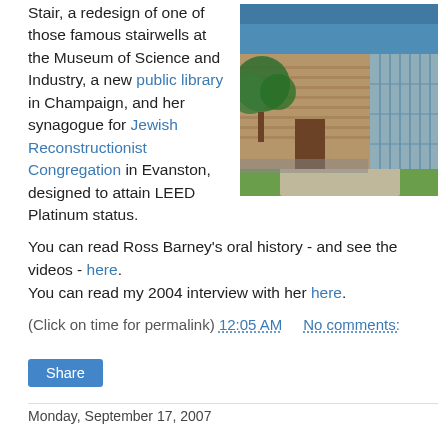Stair, a redesign of one of those famous stairwells at the Museum of Science and Industry, a new public library in Champaign, and her synagogue for Jewish Reconstructionist Congregation in Evanston, designed to attain LEED Platinum status.
[Figure (photo): Exterior photo of a modern building with stone and glass facade, trees in foreground, blue sky background.]
You can read Ross Barney's oral history - and see the videos - here.
You can read my 2004 interview with her here.
(Click on time for permalink) 12:05 AM    No comments:
Share
Monday, September 17, 2007